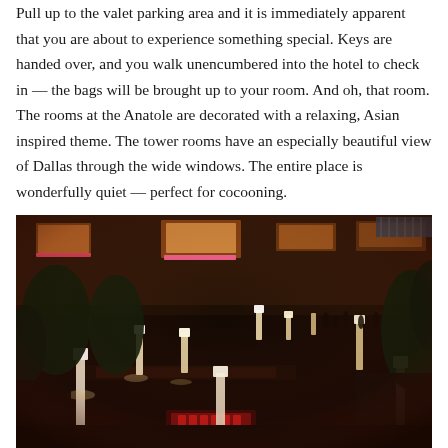Pull up to the valet parking area and it is immediately apparent that you are about to experience something special. Keys are handed over, and you walk unencumbered into the hotel to check in — the bags will be brought up to your room. And oh, that room. The rooms at the Anatole are decorated with a relaxing, Asian inspired theme. The tower rooms have an especially beautiful view of Dallas through the wide windows. The entire place is wonderfully quiet — perfect for cocooning.
[Figure (photo): Interior atrium of the Anatole hotel at night, showing warm glowing light columns, trees, water features, walkways, and guests in an expansive lobby space viewed from above.]